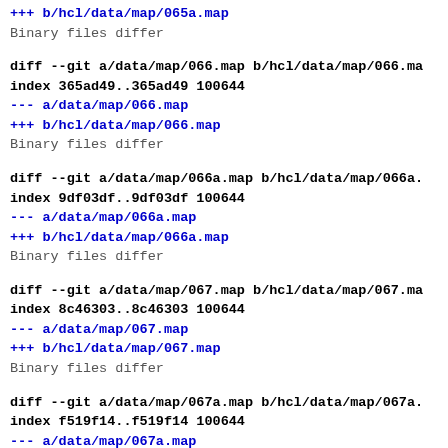+++ b/hcl/data/map/065a.map
Binary files differ
diff --git a/data/map/066.map b/hcl/data/map/066.ma
index 365ad49..365ad49 100644
--- a/data/map/066.map
+++ b/hcl/data/map/066.map
Binary files differ
diff --git a/data/map/066a.map b/hcl/data/map/066a.
index 9df03df..9df03df 100644
--- a/data/map/066a.map
+++ b/hcl/data/map/066a.map
Binary files differ
diff --git a/data/map/067.map b/hcl/data/map/067.ma
index 8c46303..8c46303 100644
--- a/data/map/067.map
+++ b/hcl/data/map/067.map
Binary files differ
diff --git a/data/map/067a.map b/hcl/data/map/067a.
index f519f14..f519f14 100644
--- a/data/map/067a.map
+++ b/hcl/data/map/067a.map
Binary files differ
diff --git a/data/map/068.map b/hcl/data/map/068.ma
index 5840a6d..5840a6d 100644
--- a/data/map/068.map